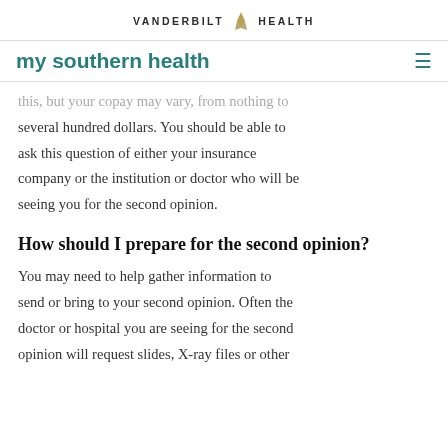VANDERBILT HEALTH
my southern health
this, but your copay may vary, from nothing to several hundred dollars. You should be able to ask this question of either your insurance company or the institution or doctor who will be seeing you for the second opinion.
How should I prepare for the second opinion?
You may need to help gather information to send or bring to your second opinion. Often the doctor or hospital you are seeing for the second opinion will request slides, X-ray files or other